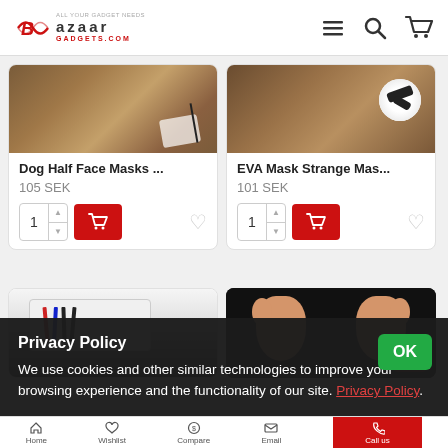Bazaar Gadgets - All Your Gadget Needs
[Figure (screenshot): Product card: Dog Half Face Masks - top portion showing wood background image]
Dog Half Face Masks ...
105 SEK
[Figure (screenshot): Product card: EVA Mask Strange Mas... - top portion showing wood background with soccer ball]
EVA Mask Strange Mas...
101 SEK
[Figure (photo): Bottom left product card partial image - white tray with colored pencils/matches]
[Figure (photo): Bottom right product card partial image - feet/toes on black background]
Privacy Policy
We use cookies and other similar technologies to improve your browsing experience and the functionality of our site. Privacy Policy.
Home | Wishlist | Compare | Email | Call us